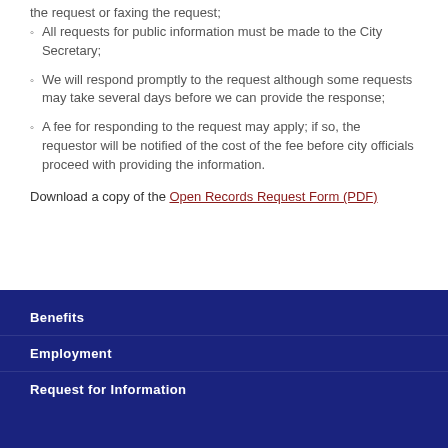the request or faxing the request;
All requests for public information must be made to the City Secretary;
We will respond promptly to the request although some requests may take several days before we can provide the response;
A fee for responding to the request may apply; if so, the requestor will be notified of the cost of the fee before city officials proceed with providing the information.
Download a copy of the Open Records Request Form (PDF)
Benefits
Employment
Request for Information